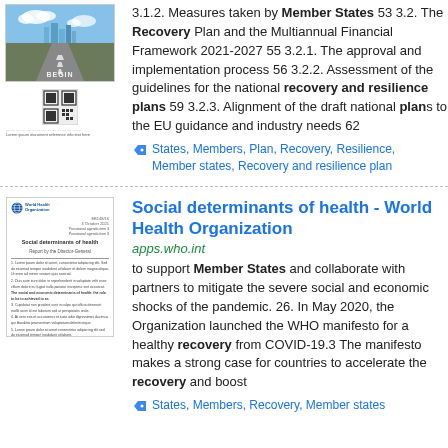[Figure (photo): Thumbnail showing a road leading toward city buildings under a blue sky, with a QR code below]
3.1.2. Measures taken by Member States 53 3.2. The Recovery Plan and the Multiannual Financial Framework 2021-2027 55 3.2.1. The approval and implementation process 56 3.2.2. Assessment of the guidelines for the national recovery and resilience plans 59 3.2.3. Alignment of the draft national plans to the EU guidance and industry needs 62
States, Members, Plan, Recovery, Resilience, Member states, Recovery and resilience plan
[Figure (photo): Thumbnail of WHO document titled Social determinants of health, Report by the Director-General]
Social determinants of health - World Health Organization
apps.who.int
to support Member States and collaborate with partners to mitigate the severe social and economic shocks of the pandemic. 26. In May 2020, the Organization launched the WHO manifesto for a healthy recovery from COVID-19.3 The manifesto makes a strong case for countries to accelerate the recovery and boost
States, Members, Recovery, Member states